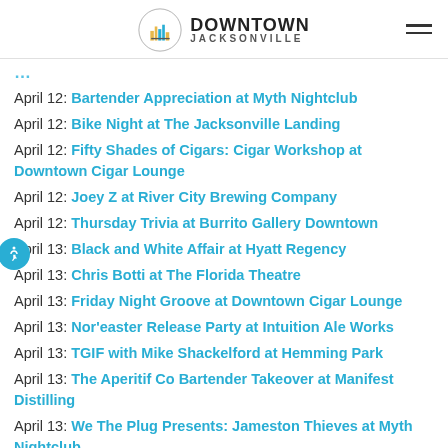Downtown Jacksonville
April 12: Bartender Appreciation at Myth Nightclub
April 12: Bike Night at The Jacksonville Landing
April 12: Fifty Shades of Cigars: Cigar Workshop at Downtown Cigar Lounge
April 12: Joey Z at River City Brewing Company
April 12: Thursday Trivia at Burrito Gallery Downtown
April 13: Black and White Affair at Hyatt Regency
April 13: Chris Botti at The Florida Theatre
April 13: Friday Night Groove at Downtown Cigar Lounge
April 13: Nor'easter Release Party at Intuition Ale Works
April 13: TGIF with Mike Shackelford at Hemming Park
April 13: The Aperitif Co Bartender Takeover at Manifest Distilling
April 13: We The Plug Presents: Jameston Thieves at Myth Nightclub